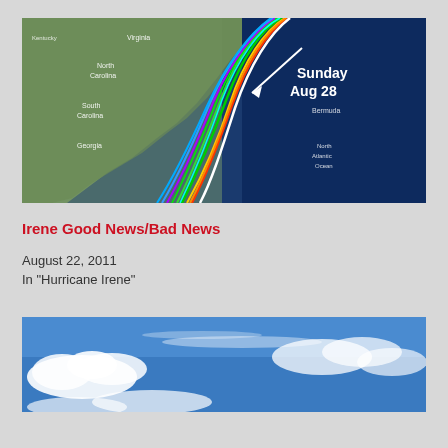[Figure (map): Hurricane track map showing multiple spaghetti model paths along the US East Coast with 'Sunday Aug 28' label and arrow pointing to a location near the Mid-Atlantic coast. Map shows eastern US states and North Atlantic Ocean.]
Irene Good News/Bad News
August 22, 2011
In "Hurricane Irene"
[Figure (photo): Sky photograph showing blue sky with white clouds.]